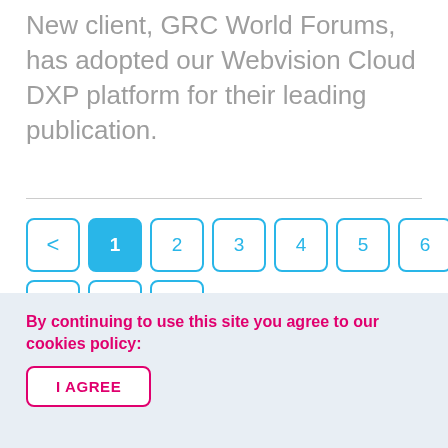New client, GRC World Forums, has adopted our Webvision Cloud DXP platform for their leading publication.
Pagination: < 1 2 3 4 5 6 7 8 9 10 >
By continuing to use this site you agree to our cookies policy:
I AGREE